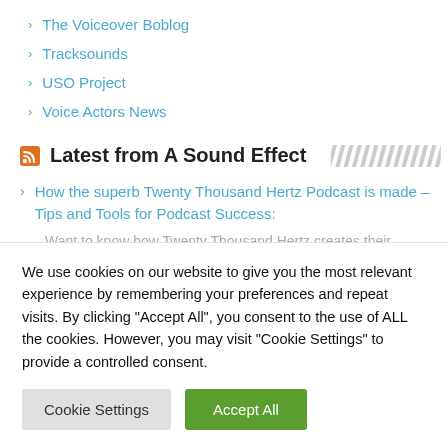The Voiceover Boblog
Tracksounds
USO Project
Voice Actors News
Latest from A Sound Effect
How the superb Twenty Thousand Hertz Podcast is made – Tips and Tools for Podcast Success:
Want to know how Twenty Thousand Hertz creates their amazing podcast episodes? Here, Dallas Taylor shares tips and tools they use to
We use cookies on our website to give you the most relevant experience by remembering your preferences and repeat visits. By clicking "Accept All", you consent to the use of ALL the cookies. However, you may visit "Cookie Settings" to provide a controlled consent.